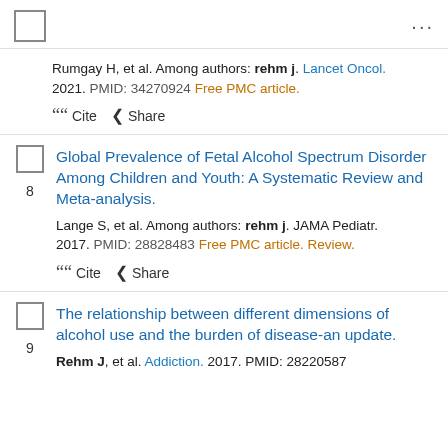checkbox | ...
Rumgay H, et al. Among authors: rehm j. Lancet Oncol. 2021. PMID: 34270924 Free PMC article.
Cite  Share
Global Prevalence of Fetal Alcohol Spectrum Disorder Among Children and Youth: A Systematic Review and Meta-analysis.
Lange S, et al. Among authors: rehm j. JAMA Pediatr. 2017. PMID: 28828483 Free PMC article. Review.
Cite  Share
The relationship between different dimensions of alcohol use and the burden of disease-an update.
Rehm J, et al. Addiction. 2017. PMID: 28220587